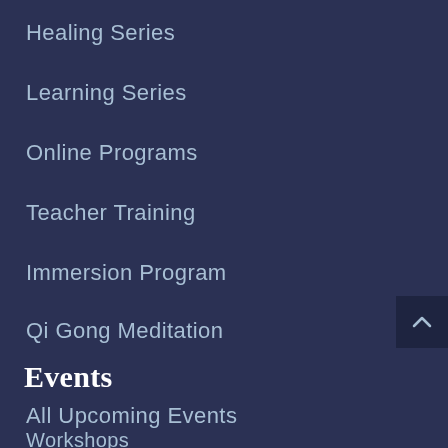Healing Series
Learning Series
Online Programs
Teacher Training
Immersion Program
Qi Gong Meditation
Events
All Upcoming Events
Workshops
Immersion Programs